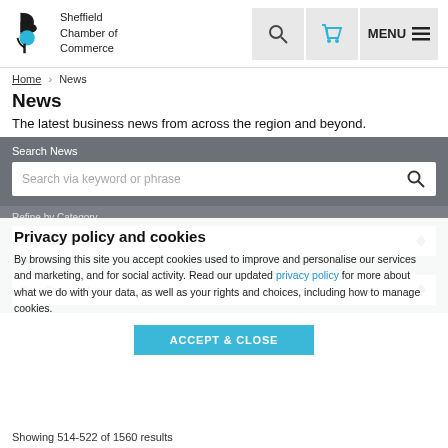[Figure (logo): Sheffield Chamber of Commerce logo with stylized B and plant icon]
Sheffield Chamber of Commerce | Search | Basket | MENU
Home > News
News
The latest business news from across the region and beyond.
Search News
Search via keyword or phrase
Refine by Category
1 items selected
Privacy policy and cookies
By browsing this site you accept cookies used to improve and personalise our services and marketing, and for social activity. Read our updated privacy policy for more about what we do with your data, as well as your rights and choices, including how to manage cookies.
ACCEPT & CLOSE
Sort by
Date Descending
Showing 514-522 of 1560 results